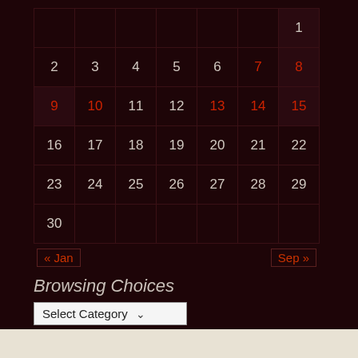|  |  |  |  |  |  |  |
| --- | --- | --- | --- | --- | --- | --- |
|  |  |  |  |  |  | 1 |
| 2 | 3 | 4 | 5 | 6 | 7 | 8 |
| 9 | 10 | 11 | 12 | 13 | 14 | 15 |
| 16 | 17 | 18 | 19 | 20 | 21 | 22 |
| 23 | 24 | 25 | 26 | 27 | 28 | 29 |
| 30 |  |  |  |  |  |  |
« Jan    Sep »
Browsing Choices
Select Category